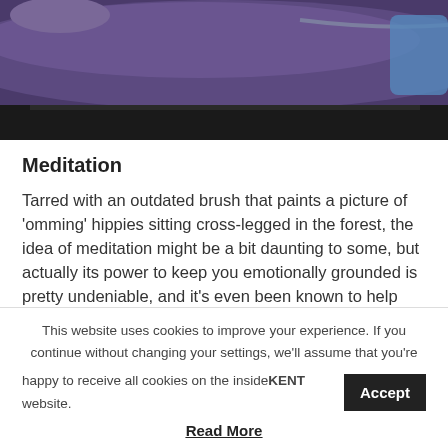[Figure (photo): A person lying on a dark treatment table, wearing a dark purple top, viewed from the side. The image shows the upper body and table.]
Meditation
Tarred with an outdated brush that paints a picture of ‘omming’ hippies sitting cross-legged in the forest, the idea of meditation might be a bit daunting to some, but actually its power to keep you emotionally grounded is pretty undeniable, and it’s even been known to help ward off recurring physical ailments
This website uses cookies to improve your experience. If you continue without changing your settings, we’ll assume that you’re happy to receive all cookies on the insideKENT website.
Accept
Read More